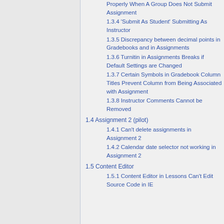Properly When A Group Does Not Submit Assignment
1.3.4 'Submit As Student' Submitting As Instructor
1.3.5 Discrepancy between decimal points in Gradebooks and in Assignments
1.3.6 Turnitin in Assignments Breaks if Default Settings are Changed
1.3.7 Certain Symbols in Gradebook Column Titles Prevent Column from Being Associated with Assignment
1.3.8 Instructor Comments Cannot be Removed
1.4 Assignment 2 (pilot)
1.4.1 Can't delete assignments in Assignment 2
1.4.2 Calendar date selector not working in Assignment 2
1.5 Content Editor
1.5.1 Content Editor in Lessons Can't Edit Source Code in IE